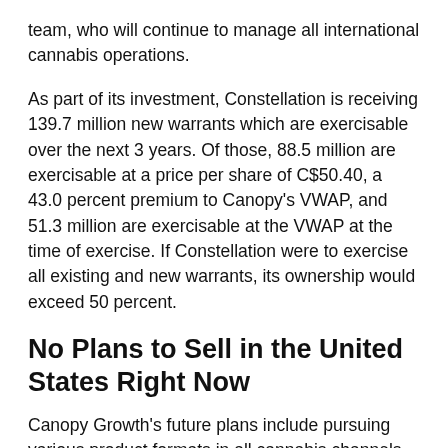team, who will continue to manage all international cannabis operations.
As part of its investment, Constellation is receiving 139.7 million new warrants which are exercisable over the next 3 years. Of those, 88.5 million are exercisable at a price per share of C$50.40, a 43.0 percent premium to Canopy's VWAP, and 51.3 million are exercisable at the VWAP at the time of exercise. If Constellation were to exercise all existing and new warrants, its ownership would exceed 50 percent.
No Plans to Sell in the United States Right Now
Canopy Growth's future plans include pursuing various product formats in all cannabis channels.